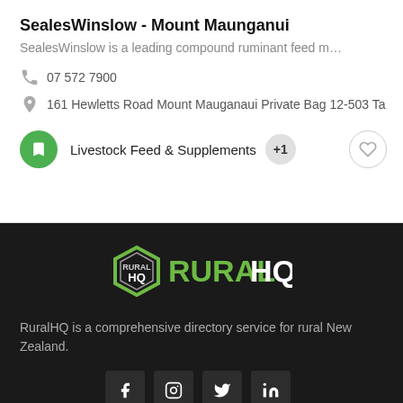SealesWinslow - Mount Maunganui
SealesWinslow is a leading compound ruminant feed m…
07 572 7900
161 Hewletts Road Mount Mauganaui Private Bag 12-503 Ta
Livestock Feed & Supplements  +1
[Figure (logo): RuralHQ logo — hexagon badge with 'HQ' text beside green bold text 'RURALHQ']
RuralHQ is a comprehensive directory service for rural New Zealand.
[Figure (infographic): Social media icons: Facebook, Instagram, Twitter, LinkedIn]